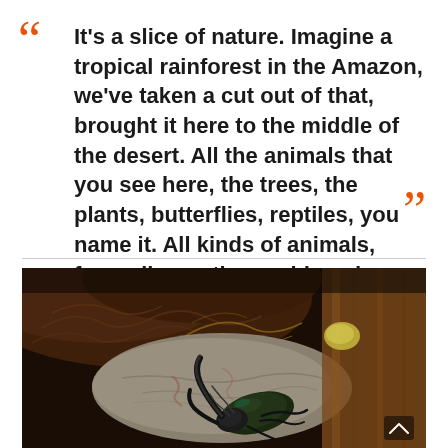It's a slice of nature. Imagine a tropical rainforest in the Amazon, we've taken a cut out of that, brought it here to the middle of the desert. All the animals that you see here, the trees, the plants, butterflies, reptiles, you name it. All kinds of animals, from all over the world, and different rain forests.
[Figure (photo): Close-up photograph of a large horned beetle (rhinoceros beetle) on a rocky surface with soil, grass and wooden structure in the background, in a dark natural setting.]